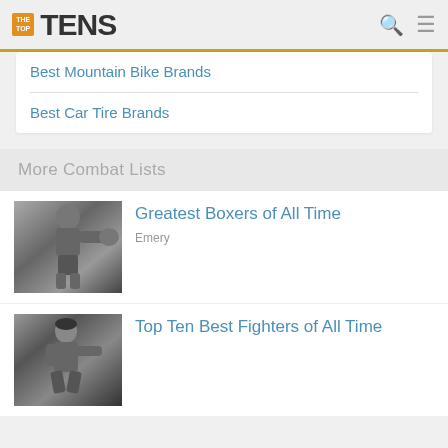THE TOP TENS
Best Mountain Bike Brands
Best Car Tire Brands
More Combat Lists
[Figure (photo): Black and white photo of a boxer (Muhammad Ali) in a fighting pose with fist extended]
Greatest Boxers of All Time
Emery
[Figure (photo): Photo of a martial arts fighter (Bruce Lee) in a fighting stance]
Top Ten Best Fighters of All Time